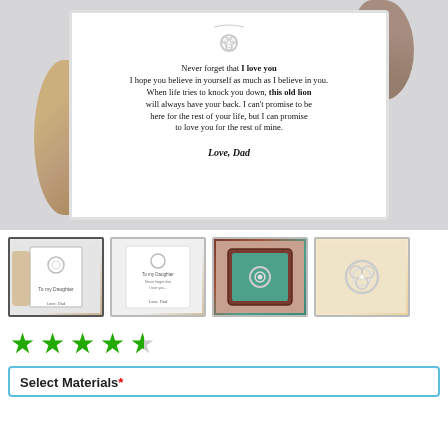[Figure (photo): Product photo of a silver love knot necklace in a white gift box with lion imagery on the sides and a message card reading: Never forget that I love you I hope you believe in yourself as much as I believe in you. When life tries to knock you down, this old lion will always have your back. I can't promise to be here for the rest of your life, but I can promise to love you for the rest of mine. Love, Dad]
[Figure (photo): Row of four product thumbnail images: (1) same lion/necklace box front view selected, (2) angled view of the message card and necklace, (3) necklace in a rosewood LED gift box, (4) close-up of the silver love knot necklace pendant on fabric]
[Figure (other): Star rating showing approximately 4.5 out of 5 stars in green]
Select Materials*